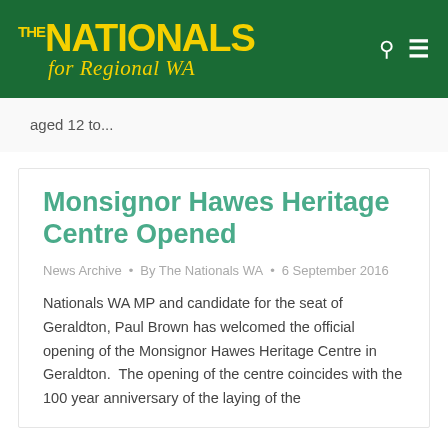THE NATIONALS for Regional WA
aged 12 to...
Monsignor Hawes Heritage Centre Opened
News Archive • By The Nationals WA • 6 September 2016
Nationals WA MP and candidate for the seat of Geraldton, Paul Brown has welcomed the official opening of the Monsignor Hawes Heritage Centre in Geraldton.  The opening of the centre coincides with the 100 year anniversary of the laying of the foundation stone for the St Francis...